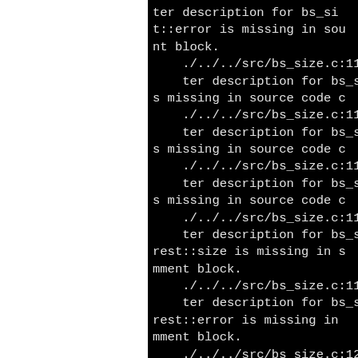ter description for bs_size::error is missing in source code comment block.
./../../src/bs_size.c:1162: warning: Missing parameter description for bs_size::error is missing in source code c
./../../src/bs_size.c:1162: warning: Missing parameter description for bs_size::error is missing in source code c
./../../src/bs_size.c:1162: warning: Missing parameter description for bs_size::error is missing in source code c
./../../src/bs_size.c:1194: warning: Missing parameter description for bs_size::rest::size is missing in source code comment block.
./../../src/bs_size.c:1194: warning: Missing parameter description for bs_size::rest::error is missing in source code comment block.
./../../src/bs_size.c:1243: warning: Missing parameter description for bs_size::error is missing in source code c
./../../src/bs_size.c:1243: